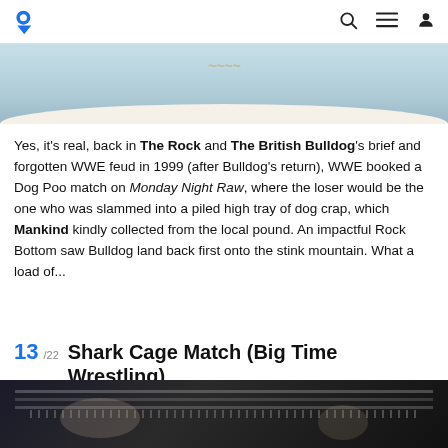Logo / Search / Menu / Profile icons
[Figure (photo): Partial image at top of page, light blue/white background, cropped view of a wrestling-related image]
Yes, it's real, back in The Rock and The British Bulldog's brief and forgotten WWE feud in 1999 (after Bulldog's return), WWE booked a Dog Poo match on Monday Night Raw, where the loser would be the one who was slammed into a piled high tray of dog crap, which Mankind kindly collected from the local pound. An impactful Rock Bottom saw Bulldog land back first onto the stink mountain. What a load of...
13 /22 Shark Cage Match (Big Time Wrestling)
[Figure (photo): Dark image showing people behind cage bars, wrestling related photo, bottom of page cropped]